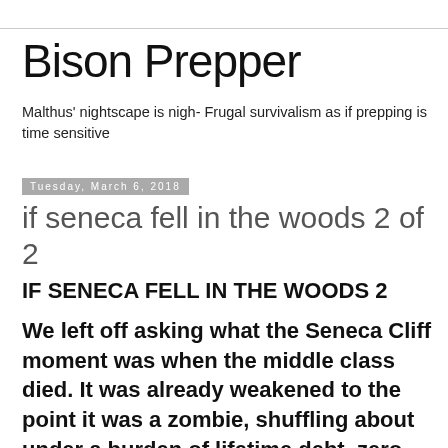Bison Prepper
Malthus' nightscape is nigh- Frugal survivalism as if prepping is time sensitive
Tuesday, March 6, 2018
if seneca fell in the woods 2 of 2
IF SENECA FELL IN THE WOODS 2
We left off asking what the Seneca Cliff moment was when the middle class died. It was already weakened to the point it was a zombie, shuffling about under a burden of lifetime debt, zero home equity, lost pensions ( don't forget the